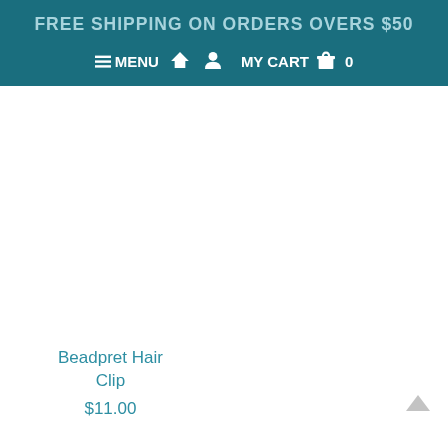FREE SHIPPING ON ORDERS OVERS $50
≡ MENU  🏠  👤  MY CART  🛍  0
Beadpret Hair Clip
$11.00